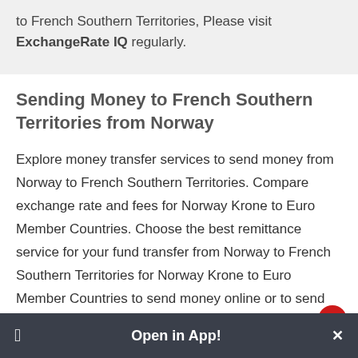to French Southern Territories, Please visit ExchangeRate IQ regularly.
Sending Money to French Southern Territories from Norway
Explore money transfer services to send money from Norway to French Southern Territories. Compare exchange rate and fees for Norway Krone to Euro Member Countries. Choose the best remittance service for your fund transfer from Norway to French Southern Territories for Norway Krone to Euro Member Countries to send money online or to send
Open in App!